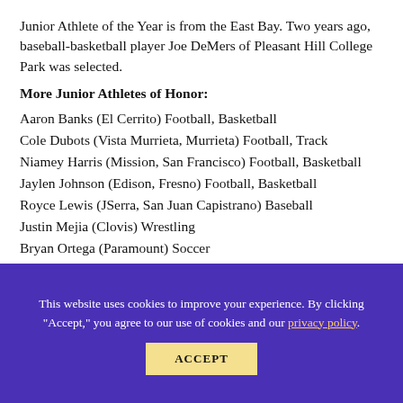Junior Athlete of the Year is from the East Bay. Two years ago, baseball-basketball player Joe DeMers of Pleasant Hill College Park was selected.
More Junior Athletes of Honor:
Aaron Banks (El Cerrito) Football, Basketball
Cole Dubots (Vista Murrieta, Murrieta) Football, Track
Niamey Harris (Mission, San Francisco) Football, Basketball
Jaylen Johnson (Edison, Fresno) Football, Basketball
Royce Lewis (JSerra, San Juan Capistrano) Baseball
Justin Mejia (Clovis) Wrestling
Bryan Ortega (Paramount) Soccer
Bronson Osborn (Esperanza, Anaheim) Track
Earnie Sears (Alemany, Mission Hills) Basketball, Track
This website uses cookies to improve your experience. By clicking "Accept," you agree to our use of cookies and our privacy policy.